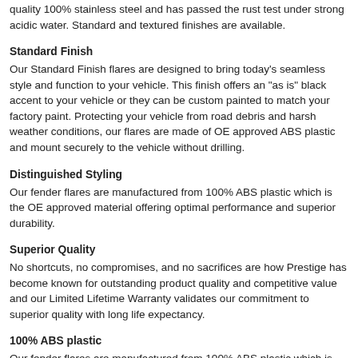quality 100% stainless steel and has passed the rust test under strong acidic water. Standard and textured finishes are available.
Standard Finish
Our Standard Finish flares are designed to bring today's seamless style and function to your vehicle. This finish offers an "as is" black accent to your vehicle or they can be custom painted to match your factory paint. Protecting your vehicle from road debris and harsh weather conditions, our flares are made of OE approved ABS plastic and mount securely to the vehicle without drilling.
Distinguished Styling
Our fender flares are manufactured from 100% ABS plastic which is the OE approved material offering optimal performance and superior durability.
Superior Quality
No shortcuts, no compromises, and no sacrifices are how Prestige has become known for outstanding product quality and competitive value and our Limited Lifetime Warranty validates our commitment to superior quality with long life expectancy.
100% ABS plastic
Our fender flares are manufactured from 100% ABS plastic which is the OE approved material offering optimal performance and superior